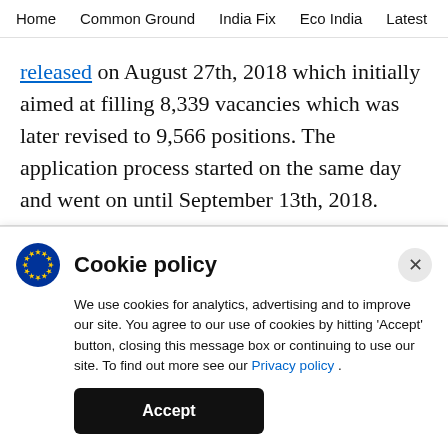Home  Common Ground  India Fix  Eco India  Latest  Th
released on August 27th, 2018 which initially aimed at filling 8,339 vacancies which was later revised to 9,566 positions. The application process started on the same day and went on until September 13th, 2018.
ADVERTISEMENT
Cookie policy
We use cookies for analytics, advertising and to improve our site. You agree to our use of cookies by hitting 'Accept' button, closing this message box or continuing to use our site. To find out more see our Privacy policy .
Accept